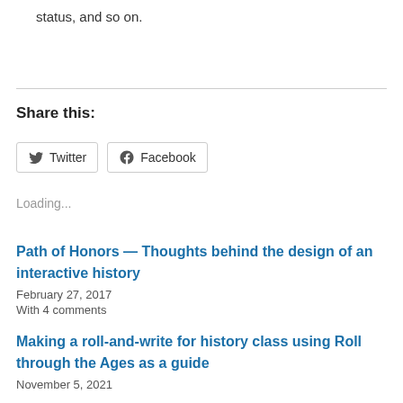status, and so on.
Share this:
[Figure (other): Twitter and Facebook share buttons]
Loading...
Path of Honors — Thoughts behind the design of an interactive history
February 27, 2017
With 4 comments
Making a roll-and-write for history class using Roll through the Ages as a guide
November 5, 2021